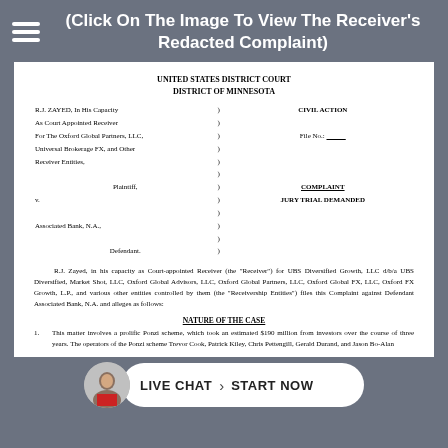(Click On The Image To View The Receiver's Redacted Complaint)
UNITED STATES DISTRICT COURT
DISTRICT OF MINNESOTA
| R.J. ZAYED, In His Capacity | ) | CIVIL ACTION |
| As Court Appointed Receiver | ) |  |
| For The Oxford Global Partners, LLC, | ) | File No.: ___________ |
| Universal Brokerage FX, and Other | ) |  |
| Receiver Entities, | ) |  |
|  | ) |  |
| Plaintiff, | ) | COMPLAINT |
| v. | ) | JURY TRIAL DEMANDED |
|  | ) |  |
| Associated Bank, N.A., | ) |  |
|  | ) |  |
| Defendant. | ) |  |
R.J. Zayed, in his capacity as Court-appointed Receiver (the "Receiver") for UBS Diversified Growth, LLC d/b/a UBS Diversified, Market Shot, LLC, Oxford Global Advisors, LLC, Oxford Global Partners, LLC, Oxford Global FX, LLC, Oxford FX Growth, L.P., and various other entities controlled by them (the "Receivership Entities") files this Complaint against Defendant Associated Bank, N.A. and alleges as follows:
NATURE OF THE CASE
1. This matter involves a prolific Ponzi scheme, which took an estimated $190 million from investors over the course of three years. The operators of the Ponzi scheme Trevor Cook, Patrick Kiley, Chris Pettengill, Gerald Durand, and Jason Bo-Alan...